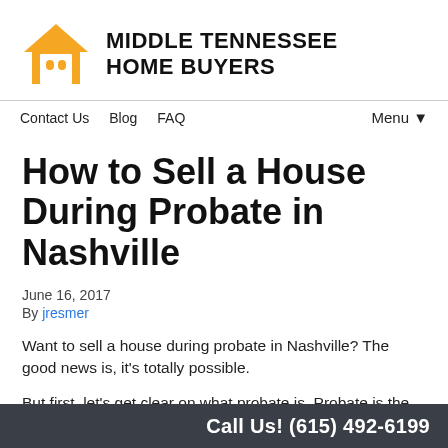[Figure (logo): Middle Tennessee Home Buyers logo: orange house icon and bold black text]
Contact Us   Blog   FAQ   Menu▼
How to Sell a House During Probate in Nashville
June 16, 2017
By jresmer
Want to sell a house during probate in Nashville? The good news is, it's totally possible.
But first, let's get clear on what probate is. Probate is the legal process of transferring property f
Call Us! (615) 492-6199